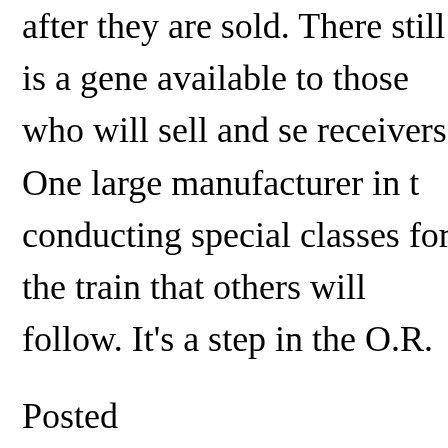after they are sold. There still is a general available to those who will sell and se receivers. One large manufacturer in t conducting special classes for the trai that others will follow. It's a step in th O.R.
Posted